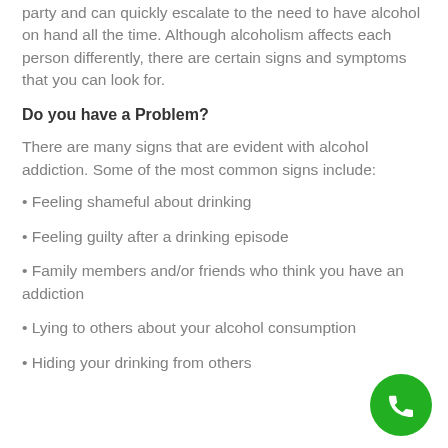party and can quickly escalate to the need to have alcohol on hand all the time. Although alcoholism affects each person differently, there are certain signs and symptoms that you can look for.
Do you have a Problem?
There are many signs that are evident with alcohol addiction. Some of the most common signs include:
• Feeling shameful about drinking
• Feeling guilty after a drinking episode
• Family members and/or friends who think you have an addiction
• Lying to others about your alcohol consumption
• Hiding your drinking from others